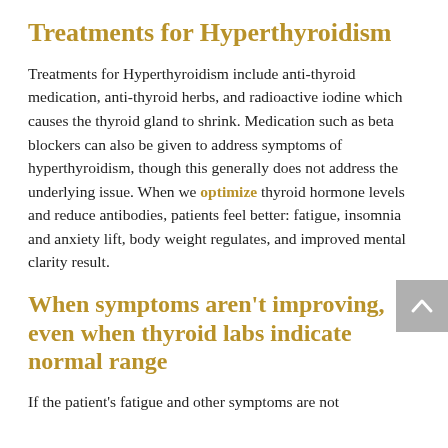Treatments for Hyperthyroidism
Treatments for Hyperthyroidism include anti-thyroid medication, anti-thyroid herbs, and radioactive iodine which causes the thyroid gland to shrink. Medication such as beta blockers can also be given to address symptoms of hyperthyroidism, though this generally does not address the underlying issue. When we optimize thyroid hormone levels and reduce antibodies, patients feel better: fatigue, insomnia and anxiety lift, body weight regulates, and improved mental clarity result.
When symptoms aren't improving, even when thyroid labs indicate normal range
If the patient's fatigue and other symptoms are not